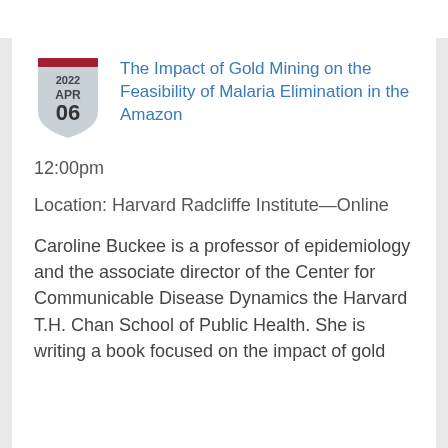[Figure (illustration): Shield-shaped calendar badge showing date 2022 APR 06 with a dark red top bar]
The Impact of Gold Mining on the Feasibility of Malaria Elimination in the Amazon
12:00pm
Location: Harvard Radcliffe Institute—Online
Caroline Buckee is a professor of epidemiology and the associate director of the Center for Communicable Disease Dynamics the Harvard T.H. Chan School of Public Health. She is writing a book focused on the impact of gold